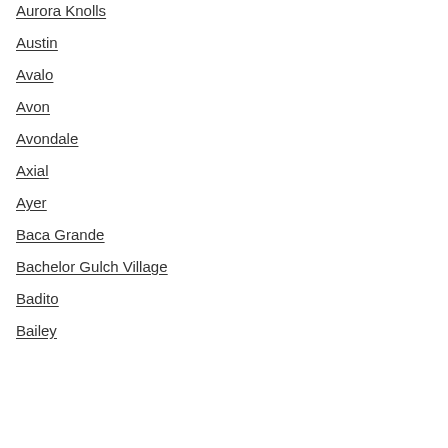Aurora Knolls
Austin
Avalo
Avon
Avondale
Axial
Ayer
Baca Grande
Bachelor Gulch Village
Badito
Bailey